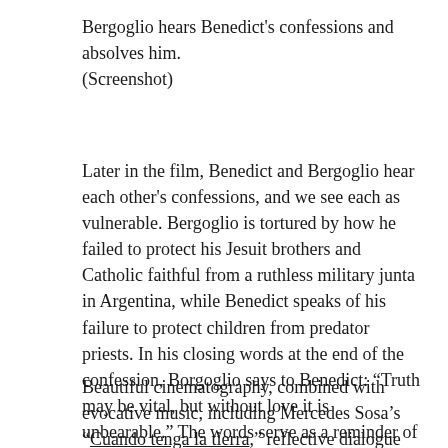Bergoglio hears Benedict's confessions and absolves him.
(Screenshot)
Later in the film, Benedict and Bergoglio hear each other's confessions, and we see each as vulnerable. Bergoglio is tortured by how he failed to protect his Jesuit brothers and Catholic faithful from a ruthless military junta in Argentina, while Benedict speaks of his failure to protect children from predator priests. In his closing words at the end of the confession, Borgoglio says to Benedict: “Truth may be vital, but without love it is unbearable.” The words serve as a reminder of Benedict’s own encyclical from 2009, entitled Caritas in Veritate (Charity in Truth).
Beautiful cinematography, combined with evocative music, including Mercedes Sosa’s “Cuando tenga la tierra,” reflective dialogue and a critically thoughtful